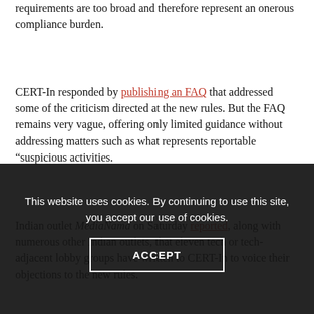requirements are too broad and therefore represent an onerous compliance burden.
CERT-In responded by publishing an FAQ that addressed some of the criticism directed at the new rules. But the FAQ remains very vague, offering only limited guidance without addressing matters such as what represents reportable “suspicious activities.
Indian outlet MediaNama on Saturday reported, along with numerous other Indian outlets, that eleven tech or tech-adjacent lobby groups have written to CERT-In to voice their objections to the new rules.
This website uses cookies. By continuing to use this site, you accept our use of cookies.
ACCEPT